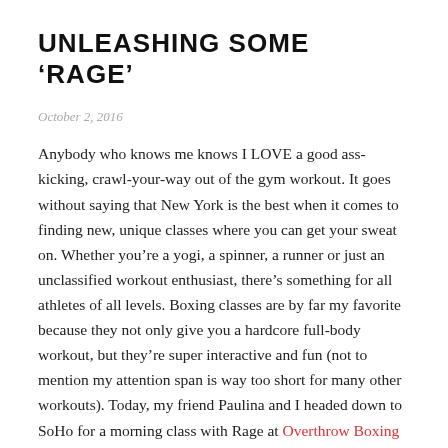UNLEASHING SOME ‘RAGE’
October 2, 2016
Anybody who knows me knows I LOVE a good ass-kicking, crawl-your-way out of the gym workout. It goes without saying that New York is the best when it comes to finding new, unique classes where you can get your sweat on. Whether you’re a yogi, a spinner, a runner or just an unclassified workout enthusiast, there’s something for all athletes of all levels. Boxing classes are by far my favorite because they not only give you a hardcore full-body workout, but they’re super interactive and fun (not to mention my attention span is way too short for many other workouts). Today, my friend Paulina and I headed down to SoHo for a morning class with Rage at Overthrow Boxing Club. This place is amazing and the pictures just don’t do it justice. I love how authentic it is. It’s so easy to stroll into a gym that’s ritzy and posh, but Overthrow has